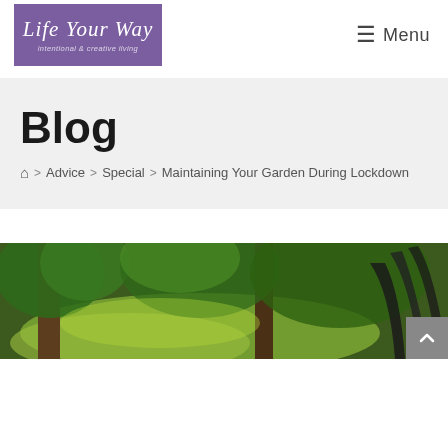[Figure (logo): Life Your Way blog logo — purple rectangle with cursive white text 'Life Your Way' and italic subtitle 'intentional & creative living']
☰ Menu
Blog
🏠 > Advice > Special > Maintaining Your Garden During Lockdown
[Figure (photo): Garden photo showing trees with green foliage and garden tools, with a dark scroll-to-top button in the bottom-right corner]